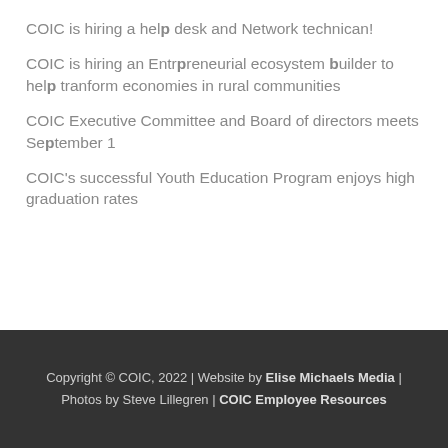COIC is hiring a help desk and Network technican!
COIC is hiring an Entrepreneurial ecosystem builder to help tranform economies in rural communities
COIC Executive Committee and Board of directors meets September 1
COIC's successful Youth Education Program enjoys high graduation rates
Copyright © COIC, 2022 | Website by Elise Michaels Media | Photos by Steve Lillegren | COIC Employee Resources